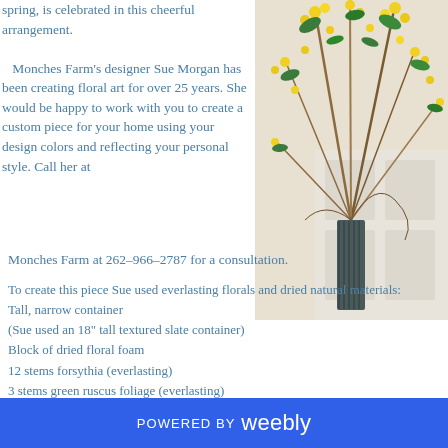spring, is celebrated in this cheerful arrangement. Monches Farm's designer Sue Morgan has been creating floral art for over 25 years. She would be happy to work with you to create a custom piece for your home using your design colors and reflecting your personal style. Call her at Monches Farm at 262-966-2787 for a consultation.
[Figure (photo): A tall narrow dark slate vase filled with yellow forsythia branches, green ruscus foliage, and angel vine, photographed against a white door]
To create this piece Sue used everlasting florals and dried natural materials:
Tall, narrow container
(Sue used an 18" tall textured slate container)
Block of dried floral foam
12 stems forsythia (everlasting)
3 stems green ruscus foliage (everlasting)
Large handful of angel vine (dried natural)
POWERED BY weebly